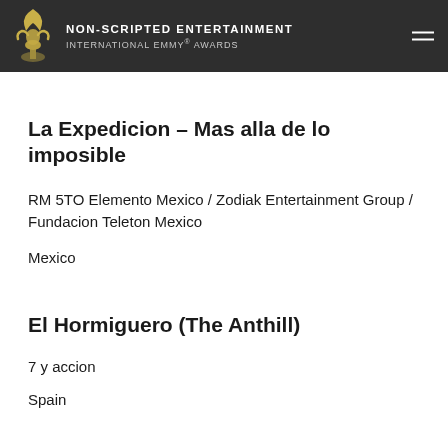NON-SCRIPTED ENTERTAINMENT INTERNATIONAL EMMY® AWARDS
La Expedicion – Mas alla de lo imposible
RM 5TO Elemento Mexico / Zodiak Entertainment Group / Fundacion Teleton Mexico
Mexico
El Hormiguero (The Anthill)
7 y accion
Spain